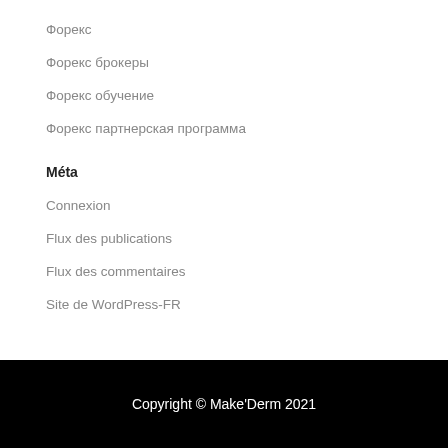Форекс
Форекс брокеры
Форекс обучение
Форекс партнерская программа
Méta
Connexion
Flux des publications
Flux des commentaires
Site de WordPress-FR
Copyright © Make'Derm 2021